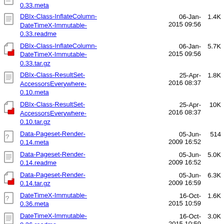DBIx-Class-InflateColumn-DateTimeX-Immutable-0.33.readme  06-Jan-2015 09:56  1.4K
DBIx-Class-InflateColumn-DateTimeX-Immutable-0.33.tar.gz  06-Jan-2015 09:56  5.7K
DBIx-Class-ResultSet-AccessorsEverywhere-0.10.meta  25-Apr-2016 08:37  1.8K
DBIx-Class-ResultSet-AccessorsEverywhere-0.10.tar.gz  25-Apr-2016 08:37  10K
Data-Pageset-Render-0.14.meta  05-Jun-2009 16:52  514
Data-Pageset-Render-0.14.readme  05-Jun-2009 16:52  5.0K
Data-Pageset-Render-0.14.tar.gz  05-Jun-2009 16:59  6.3K
DateTimeX-Immutable-0.36.meta  16-Oct-2015 10:59  1.6K
DateTimeX-Immutable-0.36.readme  16-Oct-2015 10:59  3.0K